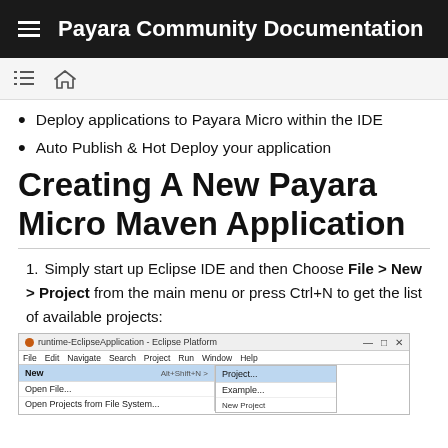Payara Community Documentation
Deploy applications to Payara Micro within the IDE
Auto Publish & Hot Deploy your application
Creating A New Payara Micro Maven Application
Simply start up Eclipse IDE and then Choose File > New > Project from the main menu or press Ctrl+N to get the list of available projects:
[Figure (screenshot): Eclipse IDE window showing File menu open with New > Project highlighted and a submenu showing Project... and Example... options]